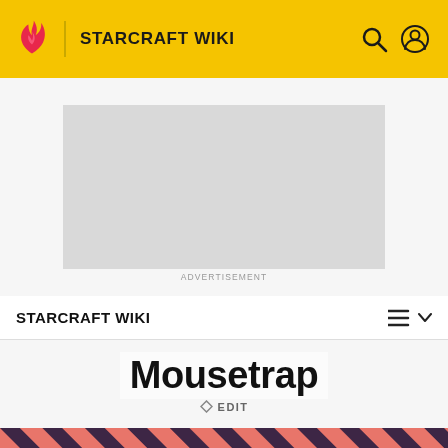STARCRAFT WIKI
[Figure (other): Advertisement placeholder box (gray rectangle)]
ADVERTISEMENT
STARCRAFT WIKI
Mousetrap
EDIT
[Figure (illustration): Bottom banner showing a cartoon monster character on a pink and dark diagonal stripe background]